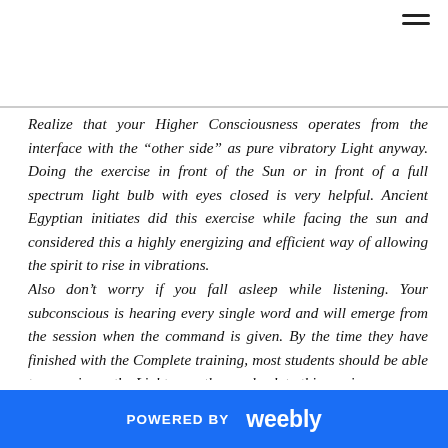Realize that your Higher Consciousness operates from the interface with the “other side” as pure vibratory Light anyway. Doing the exercise in front of the Sun or in front of a full spectrum light bulb with eyes closed is very helpful. Ancient Egyptian initiates did this exercise while facing the sun and considered this a highly energizing and efficient way of allowing the spirit to rise in vibrations. Also don’t worry if you fall asleep while listening. Your subconscious is hearing every single word and will emerge from the session when the command is given. By the time they have finished with the Complete training, most students should be able to experience the Light once they go back to this session. If at any time while following the program, you feel you have difficulty concentrating on the material presented in the
POWERED BY weebly